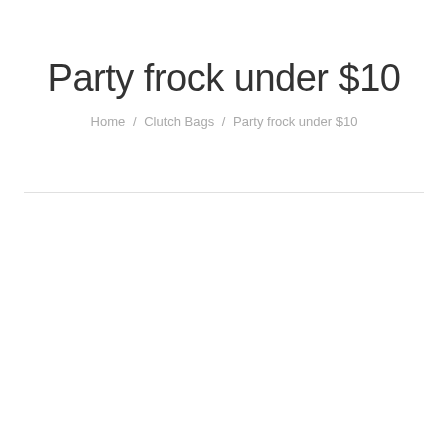Party frock under $10
Home / Clutch Bags / Party frock under $10